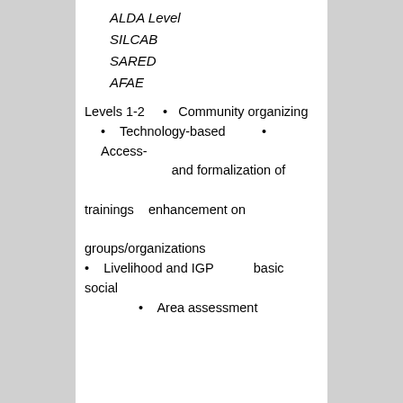ALDA Level
SILCAB
SARED
AFAE
Levels 1-2  •  Community organizing
Technology-based  •  Access-
and formalization of
trainings  enhancement on
groups/organizations
Livelihood and IGP  basic social
Area assessment